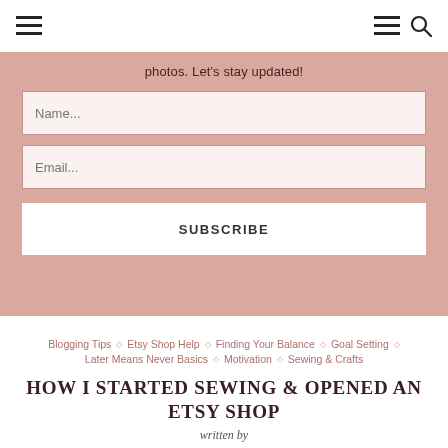Navigation header with hamburger menu and search icons
photos. Let's stay updated!
Name...
Email...
SUBSCRIBE
Blogging Tips
Etsy Shop Help
Finding Your Balance
Goal Setting
Later Means Never Basics
Motivation
Sewing & Crafts
HOW I STARTED SEWING & OPENED AN ETSY SHOP
written by